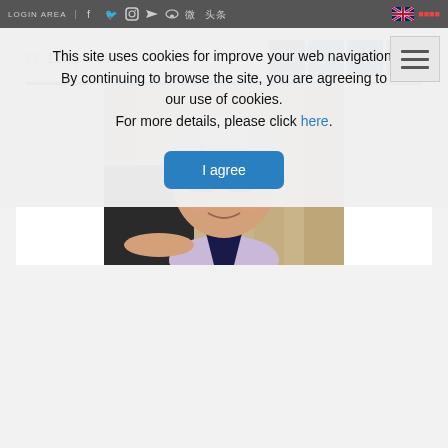LOGIN AREA | [social icons] [flag]
This site uses cookies for improve your web navigation. By continuing to browse the site, you are agreeing to our use of cookies. For more details, please click here.
I agree
11 April 2022
[Figure (photo): Close-up photograph of an older man with grey hair and dark-rimmed glasses, smiling, wearing a suit and light purple shirt, with a draped curtain background.]